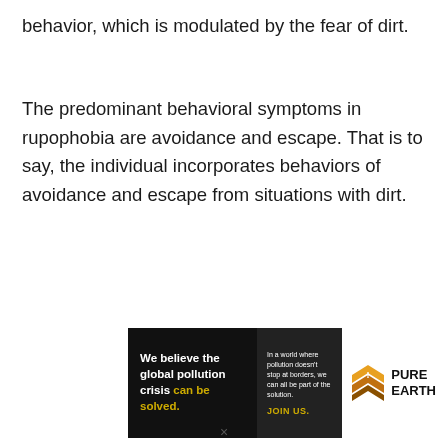behavior, which is modulated by the fear of dirt.
The predominant behavioral symptoms in rupophobia are avoidance and escape. That is to say, the individual incorporates behaviors of avoidance and escape from situations with dirt.
[Figure (infographic): Pure Earth advertisement banner. Left black section: 'We believe the global pollution crisis can be solved.' (with 'can be solved.' in yellow). Middle dark section: 'In a world where pollution doesn't stop at borders, we can all be part of the solution. JOIN US.' (JOIN US in yellow). Right white section: Pure Earth logo with diamond/chevron icon in orange and yellow, text 'PURE EARTH' in black bold.]
×